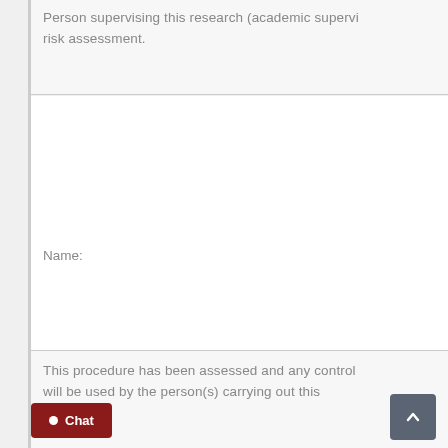Person supervising this research (academic supervi risk assessment.
Name:
This procedure has been assessed and any control will be used by the person(s) carrying out this work.